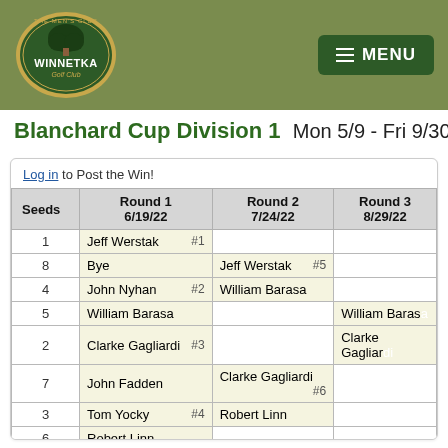[Figure (logo): Winnetka Golf Club – The Men's Club logo oval with tree illustration and gold border, on olive green header background]
Blanchard Cup Division 1   Mon 5/9 - Fri 9/30
Log in to Post the Win!
| Seeds | Round 1
6/19/22 | Round 2
7/24/22 | Round 3
8/29/22 |
| --- | --- | --- | --- |
| 1 | Jeff Werstak  #1 |  |  |
| 8 | Bye | Jeff Werstak  #5 |  |
| 4 | John Nyhan  #2 | William Barasa |  |
| 5 | William Barasa |  | William Barasa |
| 2 | Clarke Gagliardi  #3 |  | Clarke Gagliardi |
| 7 | John Fadden | Clarke Gagliardi  #6 |  |
| 3 | Tom Yocky  #4 | Robert Linn |  |
| 6 | Robert Linn |  |  |